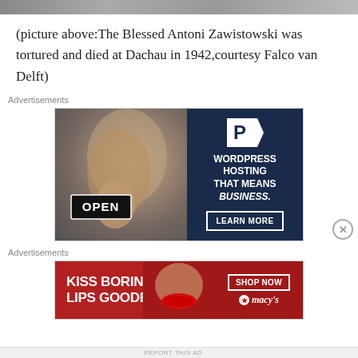[Figure (photo): Top image strip - partial photograph visible at top of page]
(picture above:The Blessed Antoni Zawistowski was tortured and died at Dachau in 1942,courtesy Falco van Delft)
Advertisements
[Figure (photo): WordPress hosting advertisement showing a woman holding an OPEN sign on the left and dark navy background on the right with text: WORDPRESS HOSTING THAT MEANS BUSINESS. and a LEARN MORE button]
Advertisements
[Figure (photo): Macy's advertisement with red background showing KISS BORING LIPS GOODBYE text, a woman's face with red lips, SHOP NOW button, and Macy's logo with star]